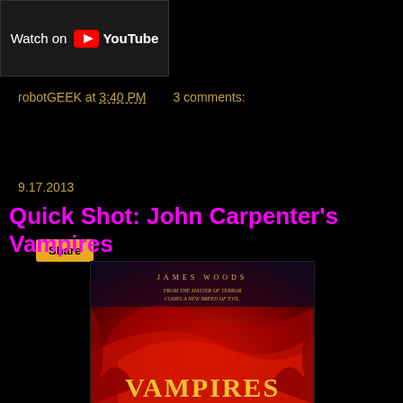[Figure (screenshot): Watch on YouTube button/banner in dark box]
robotGEEK at 3:40 PM   3 comments:
Share
9.17.2013
Quick Shot: John Carpenter's Vampires
[Figure (photo): Movie poster for John Carpenter's Vampires featuring James Woods. Text reads: JAMES WOODS, FROM THE MASTER OF TERROR COMES A NEW BREED OF EVIL. Large red dramatic background with the word VAMPIRES in gold at the bottom.]